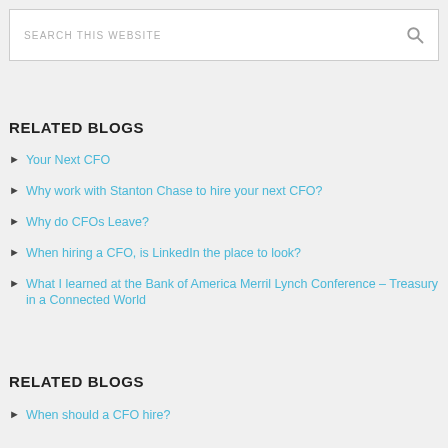[Figure (screenshot): Search box with placeholder text 'SEARCH THIS WEBSITE' and a magnifying glass icon on the right]
RELATED BLOGS
Your Next CFO
Why work with Stanton Chase to hire your next CFO?
Why do CFOs Leave?
When hiring a CFO, is LinkedIn the place to look?
What I learned at the Bank of America Merril Lynch Conference – Treasury in a Connected World
RELATED BLOGS
When should a CFO hire?